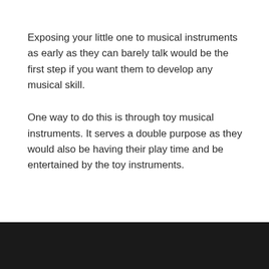Exposing your little one to musical instruments as early as they can barely talk would be the first step if you want them to develop any musical skill.
One way to do this is through toy musical instruments. It serves a double purpose as they would also be having their play time and be entertained by the toy instruments.